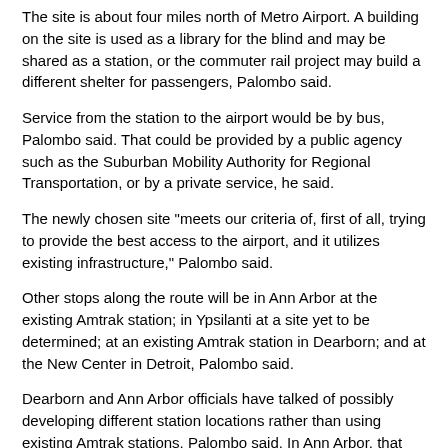The site is about four miles north of Metro Airport. A building on the site is used as a library for the blind and may be shared as a station, or the commuter rail project may build a different shelter for passengers, Palombo said.
Service from the station to the airport would be by bus, Palombo said. That could be provided by a public agency such as the Suburban Mobility Authority for Regional Transportation, or by a private service, he said.
The newly chosen site "meets our criteria of, first of all, trying to provide the best access to the airport, and it utilizes existing infrastructure," Palombo said.
Other stops along the route will be in Ann Arbor at the existing Amtrak station; in Ypsilanti at a site yet to be determined; at an existing Amtrak station in Dearborn; and at the New Center in Detroit, Palombo said.
Dearborn and Ann Arbor officials have talked of possibly developing different station locations rather than using existing Amtrak stations, Palombo said. In Ann Arbor, that has included discussion about a possible station near where the rail line passes the University of Michigan Medical Center, he said.
Norfolk Southern Railway Co. has completed a study of how to share its tracks, used by its freight trains, with the new service and existing Amtrak service, Palombo said.
The company has provided a list of infrastructure improvements that